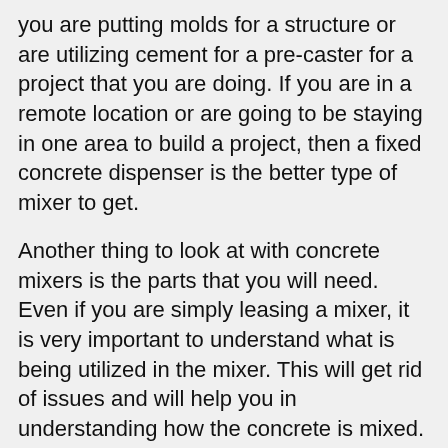you are putting molds for a structure or are utilizing cement for a pre-caster for a project that you are doing. If you are in a remote location or are going to be staying in one area to build a project, then a fixed concrete dispenser is the better type of mixer to get.
Another thing to look at with concrete mixers is the parts that you will need. Even if you are simply leasing a mixer, it is very important to understand what is being utilized in the mixer. This will get rid of issues and will help you in understanding how the concrete is mixed. If any issues arise with the process, you will understand which parts is not working appropriately or need changed. Among the main things to look at is the type of blades that are being utilized. There are specific sizes that are included with the blades and different products that are utilized, depending upon the type of mixer that you are getting.